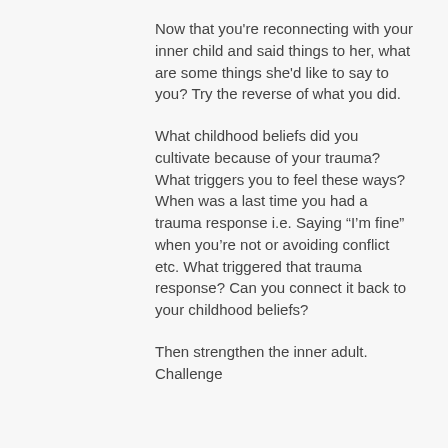Now that you're reconnecting with your inner child and said things to her, what are some things she'd like to say to you? Try the reverse of what you did.
What childhood beliefs did you cultivate because of your trauma? What triggers you to feel these ways? When was a last time you had a trauma response i.e. Saying “I’m fine” when you’re not or avoiding conflict etc. What triggered that trauma response? Can you connect it back to your childhood beliefs?
Then strengthen the inner adult. Challenge